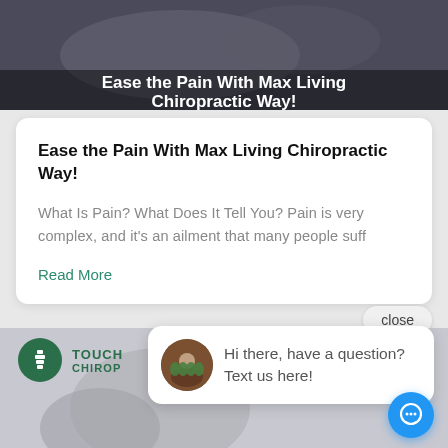[Figure (photo): Banner image showing a chiropractic treatment scene with text overlay: 'Ease the Pain With Max Living Chiropractic Way!']
Ease the Pain With Max Living Chiropractic Way!
What Is Pain? What Does It Tell You? Pain is very complex, and it's an ailment that many people suff
Read More
close
[Figure (screenshot): Touch Chiropractic logo and chat popup saying 'Hi there, have a question? Text us here!' with a group photo avatar and blue chat button]
TOUCH CHIROP
Hi there, have a question? Text us here!